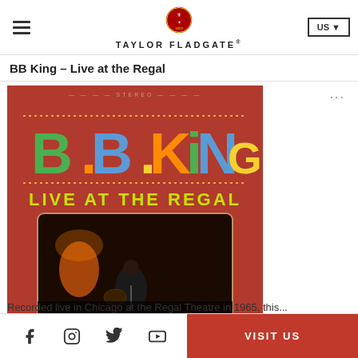TAYLOR FLADGATE® US
BB King – Live at the Regal
[Figure (photo): Album cover of BB King – Live at the Regal. Red background with colorful block letters spelling B.B. KING at top and LIVE AT THE REGAL below, with a concert photo at the bottom showing BB King performing on stage.]
Recorded live in Chicago at the Regal Theatre in 1965, this...
Facebook  Instagram  Twitter  YouTube  VISIT US